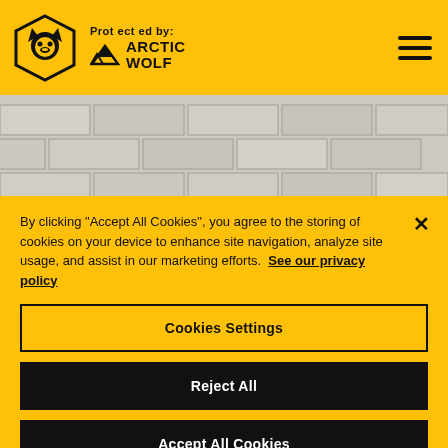Protected by: Arctic Wolf
[Figure (illustration): Background image of a brick wall with a partial quote visible: "We are like a wolf pack. We]
By clicking “Accept All Cookies”, you agree to the storing of cookies on your device to enhance site navigation, analyze site usage, and assist in our marketing efforts. See our privacy policy
Cookies Settings
Reject All
Accept All Cookies